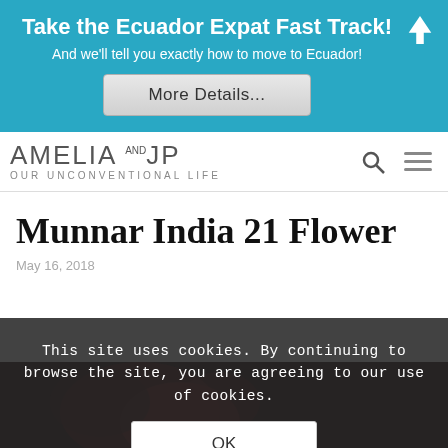Take the Ecuador Expat Fast Track! And we'll tell you exactly how to move to Ecuador! More Details...
[Figure (logo): AMELIA AND JP - OUR UNCONVENTIONAL LIFE logo with search and hamburger menu icons]
Munnar India 21 Flower
May 16, 2018
This site uses cookies. By continuing to browse the site, you are agreeing to our use of cookies.
[Figure (photo): Dark reddish flower photo at the bottom of the page]